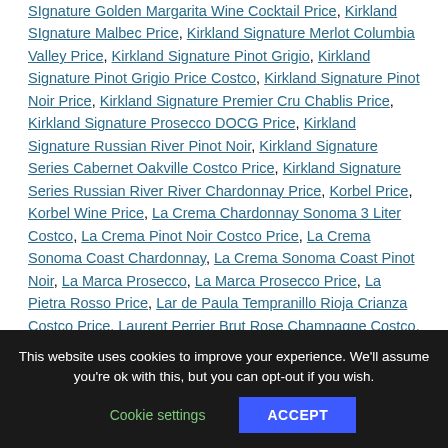SIgnature Golden Margarita Wine Cocktail Price, Kirkland SIgnature Malbec Price, Kirkland Signature Merlot Columbia Valley Price, Kirkland Signature Pinot Grigio, Kirkland Signature Pinot Grigio Price Costco, Kirkland Signature Pinot Noir Price, Kirkland Signature Premier Cru Chablis Price, Kirkland Signature Prosecco DOCG Price, Kirkland Signature Russian River Pinot Noir, Kirkland Signature Series Cabernet Oakville Costco Price, Kirkland Signature Series Russian River River Chardonnay Price, Korbel Price, Korbel Wine Price, La Crema Chardonnay Sonoma 3 Liter Costco, La Crema Pinot Noir Costco Price, La Crema Sonoma Coast Chardonnay, La Crema Sonoma Coast Pinot Noir, La Marca Prosecco, La Marca Prosecco Price, La Pietra Rosso Price, Lar de Paula Tempranillo Rioja Crianza Costco Price, Laurent Perrier Brut Rose Champagne Costco, Laurent Perrier Brut Rose Champagne Price, Layer Cake Shiraz Price, Lincourt Chardonnay Santa Rita
This website uses cookies to improve your experience. We'll assume you're ok with this, but you can opt-out if you wish.
Cookie settings
ACCEPT